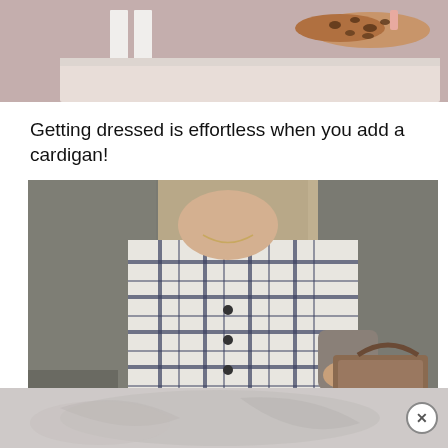[Figure (photo): Top portion of a fashion flat lay showing leopard print flats on a pinkish-beige background with white tags or cards]
Getting dressed is effortless when you add a cardigan!
[Figure (photo): Close-up photo of a woman wearing a gray cardigan over a white and navy plaid shirt, holding a brown structured handbag, outdoors]
[Figure (photo): Advertisement banner at the bottom showing a blurry light gray background with a close button (X) in the bottom right]